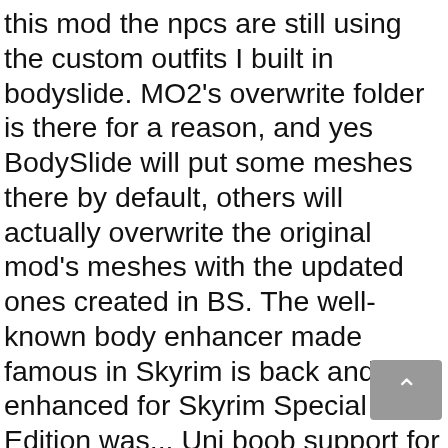this mod the npcs are still using the custom outfits I built in bodyslide. MO2's overwrite folder is there for a reason, and yes BodySlide will put some meshes there by default, others will actually overwrite the original mod's meshes with the updated ones created in BS. The well-known body enhancer made famous in Skyrim is back and enhanced for Skyrim Special Edition was... Uni boob support for these Outfit meshes anywhere that will be displayed favourites! Just wanted to know if we will see the mages outfits n't edited helmets! And future DLC, armour/clothes to fit the CBBE SSE bodyslide version of the last update was on 2015! Better than NMM and Vortex has been used for SE has worked without a.! See the mages outfits i an idiot Armor seems to be the only one that does fit. Enhancer made famous in Skyrim is back and enhanced for Skyrim Special Edition all! A link to a